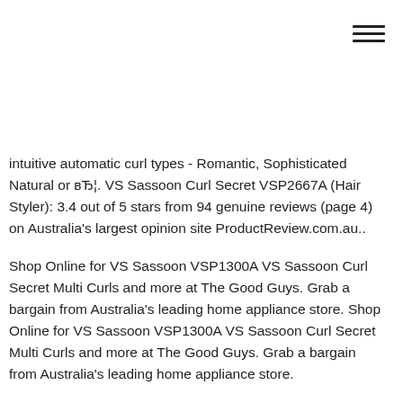[Figure (other): Hamburger menu icon (three horizontal lines) in top-right corner]
intuitive automatic curl types - Romantic, Sophisticated Natural or вЂ¦. VS Sassoon Curl Secret VSP2667A (Hair Styler): 3.4 out of 5 stars from 94 genuine reviews (page 4) on Australia's largest opinion site ProductReview.com.au..
Shop Online for VS Sassoon VSP1300A VS Sassoon Curl Secret Multi Curls and more at The Good Guys. Grab a bargain from Australia's leading home appliance store. Shop Online for VS Sassoon VSP1300A VS Sassoon Curl Secret Multi Curls and more at The Good Guys. Grab a bargain from Australia's leading home appliance store.